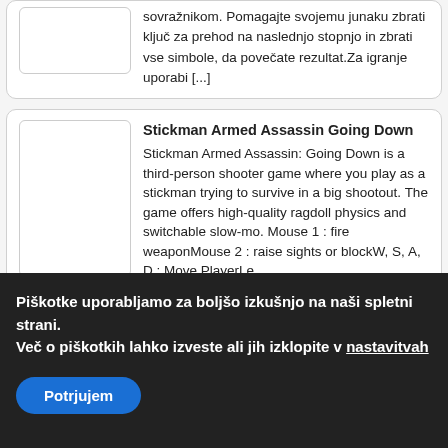sovražnikom. Pomagajte svojemu junaku zbrati ključ za prehod na naslednjo stopnjo in zbrati vse simbole, da povečate rezultat.Za igranje uporabi [...]
Stickman Armed Assassin Going Down
Stickman Armed Assassin: Going Down is a third-person shooter game where you play as a stickman trying to survive in a big shootout. The game offers high-quality ragdoll physics and switchable slow-mo. Mouse 1 : fire weaponMouse 2 : raise sights or blockW, S, A, D : Move PlayerLe [...]
Katzenarzt
Arbeite als Tierarzt und kümmere dich um süße aber kranke Katzen. Eigenschaften • Gute Grafik • Mehrere EbenenKontrollen
Piškotke uporabljamo za boljšo izkušnjo na naši spletni strani. Več o piškotkih lahko izveste ali jih izklopite v nastavitvah
Potrjujem